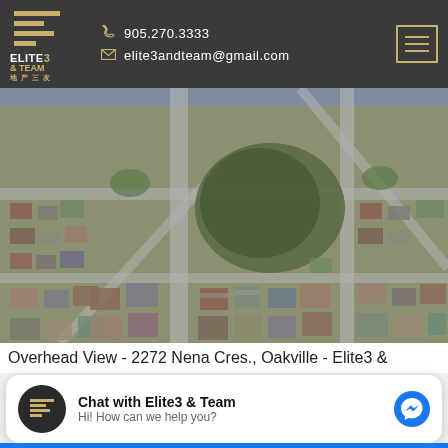905.270.3333 | elite3andteam@gmail.com | Elite3 & Team logo
[Figure (photo): Aerial overhead view of a suburban residential neighborhood in Oakville showing houses, streets, roads, trees, and green spaces from above.]
Overhead View - 2272 Nena Cres., Oakville - Elite3 &
Chat with Elite3 & Team
Hi! How can we help you?